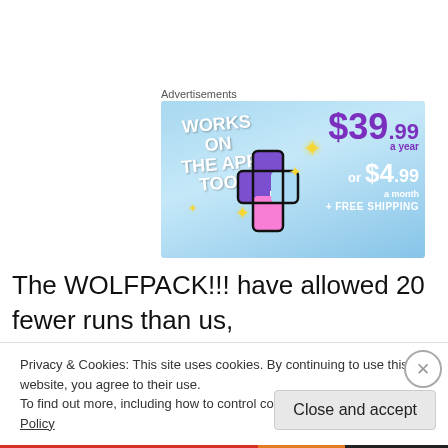Advertisements
[Figure (illustration): Advertisement banner with light blue sky background. Left side says 'WORKS ON THE APP TOO!' in white bold text with yellow sparkle stars and a colorful plus-sign mascot. Right side shows '$39.99 a year or $4.99 a month + FREE SHIPPING' in purple and white text.]
The WOLFPACK!!! have allowed 20 fewer runs than us, and I think that's the first tie breaker after head to head. So
Privacy & Cookies: This site uses cookies. By continuing to use this website, you agree to their use.
To find out more, including how to control cookies, see here: Cookie Policy
Close and accept